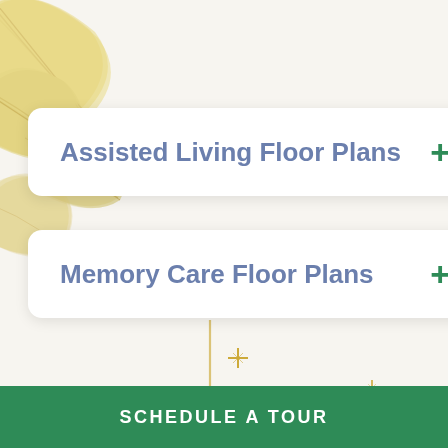[Figure (illustration): Decorative gold/yellow leaf illustrations in the upper-left and lower-left background, plus small gold star/sparkle decorations in the lower center and right areas of the page.]
Assisted Living Floor Plans
Memory Care Floor Plans
SCHEDULE A TOUR